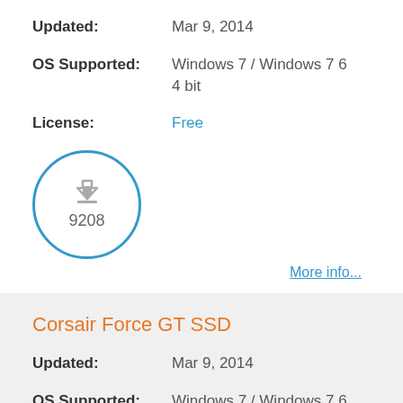Updated: Mar 9, 2014
OS Supported: Windows 7 / Windows 7 64 bit
License: Free
[Figure (infographic): Download count badge: circular blue-bordered icon with download arrow and number 9208]
More info...
Corsair Force GT SSD
Updated: Mar 9, 2014
OS Supported: Windows 7 / Windows 7 6